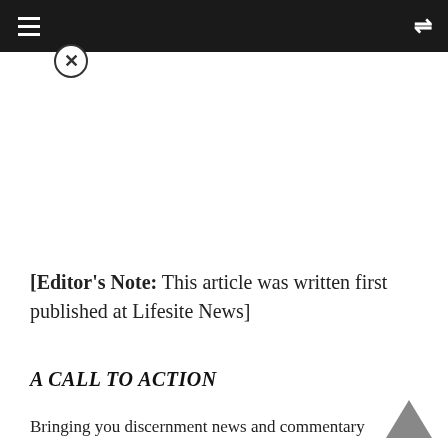≡   ⇌
[Editor's Note: This article was written first published at Lifesite News]
A CALL TO ACTION
Bringing you discernment news and commentary f…